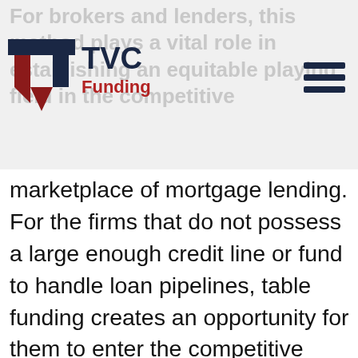For brokers and lenders, this method plays a vital role in establishing an equitable playing field in the competitive
[Figure (logo): TVC Funding logo with navy blue T-shaped emblem and red shield, text 'TVC' in navy and 'Funding' in red]
marketplace of mortgage lending. For the firms that do not possess a large enough credit line or fund to handle loan pipelines, table funding creates an opportunity for them to enter the competitive local market as a lender, without the significant capital demands required to fund a large volume of loans.
Table funding allows brokers and lenders to have the look and feel of a direct lender without needing the capital to fund the